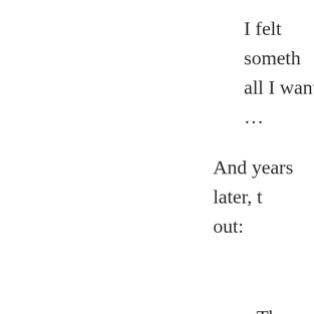I felt someth all I want …
And years later, t out:
Then that Sa ask of me to communicate didst know th drink; thou p thee living w to draw, and t Art thou grea